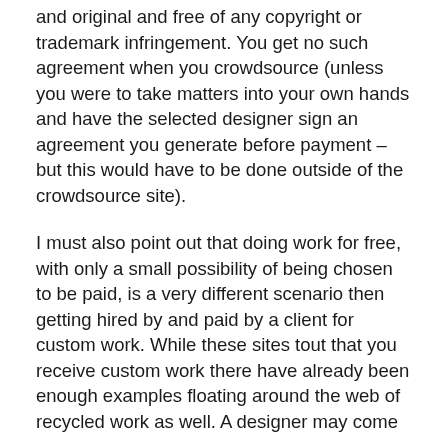and original and free of any copyright or trademark infringement. You get no such agreement when you crowdsource (unless you were to take matters into your own hands and have the selected designer sign an agreement you generate before payment – but this would have to be done outside of the crowdsource site).
I must also point out that doing work for free, with only a small possibility of being chosen to be paid, is a very different scenario then getting hired by and paid by a client for custom work. While these sites tout that you receive custom work there have already been enough examples floating around the web of recycled work as well. A designer may come